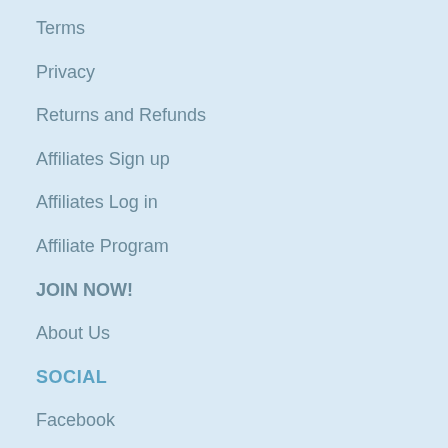Terms
Privacy
Returns and Refunds
Affiliates Sign up
Affiliates Log in
Affiliate Program
JOIN NOW!
About Us
SOCIAL
Facebook
Twitter